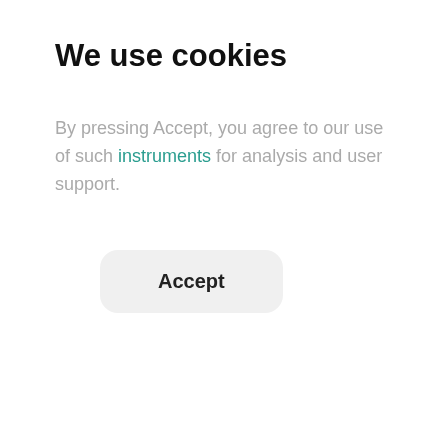We use cookies
By pressing Accept, you agree to our use of such instruments for analysis and user support.
Accept
[Figure (other): Gray divider bar background section]
[Figure (other): White news card with circular date badge showing 06 Jun, language switcher Ru En, and headline text: VPC Signs Special Investment Contract to Create]
06
Jun
Ru  En
VPC Signs Special Investment Contract to Create